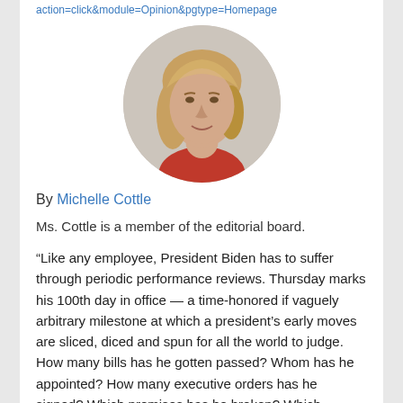action=click&module=Opinion&pgtype=Homepage
[Figure (photo): Circular headshot photo of Michelle Cottle, a woman with shoulder-length blonde hair wearing a red top, against a light gray background.]
By Michelle Cottle
Ms. Cottle is a member of the editorial board.
“Like any employee, President Biden has to suffer through periodic performance reviews. Thursday marks his 100th day in office — a time-honored if vaguely arbitrary milestone at which a president’s early moves are sliced, diced and spun for all the world to judge. How many bills has he gotten passed? Whom has he appointed? How many executive orders has he signed? Which promises has he broken? Which constituencies has he ticked off?